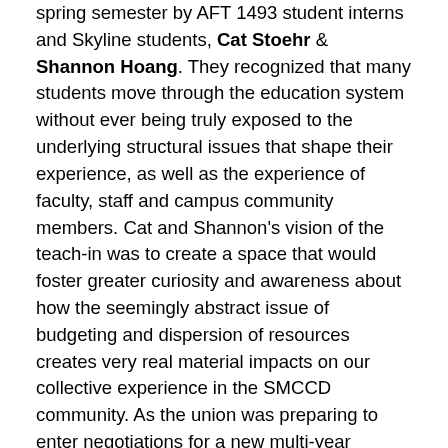spring semester by AFT 1493 student interns and Skyline students, Cat Stoehr & Shannon Hoang. They recognized that many students move through the education system without ever being truly exposed to the underlying structural issues that shape their experience, as well as the experience of faculty, staff and campus community members. Cat and Shannon's vision of the teach-in was to create a space that would foster greater curiosity and awareness about how the seemingly abstract issue of budgeting and dispersion of resources creates very real material impacts on our collective experience in the SMCCD community. As the union was preparing to enter negotiations for a new multi-year contract, CAT members saw the teach-in as an exciting way to inform faculty and students about the inequities in the district's distribution of funds and build long-term engagement and faculty-student activism. [Watch video of Cat Stoehr & Shannon Hoang's introductory remarks.]
The lively and engaged audience was treated to short remarks by local elected officials, faculty members and students who spoke on the various ways that budget decisions contribute to